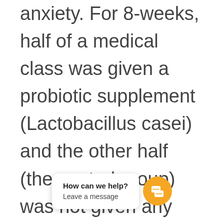anxiety. For 8-weeks, half of a medical class was given a probiotic supplement (Lactobacillus casei) and the other half (the control group) was not given any probiotic. re the students' big exam